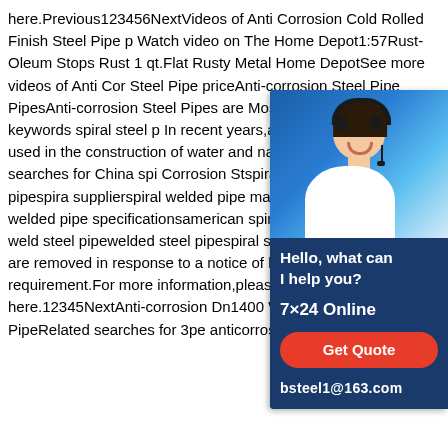here.Previous123456NextVideos of Anti Corrosion Cold Rolled Finish Steel Pipe p Watch video on The Home Depot1:57Rust-Oleum Stops Rust 1 qt.Flat Rusty Metal Home DepotSee more videos of Anti Corrosion Steel Pipe priceAnti-corrosion Steel Pipes PipesAnti-corrosion Steel Pipes are Most Date 2020-03-24 keywords spiral steel p In recent years,anticorrosive steel pipes used in the construction of water and natural gas pipelines.Related searches for China spiral Corrosion Stspiral welded steel pipespiral supplierspiral welded pipe manufacturersspiral welded pipe specificationsamerican spiral welded pipespiral weld steel pipewelded steel pipespiral steel pipeSome results are removed in response to a notice of local law requirement.For more information,please see here.12345NextAnti-corrosion Dn1400 Welded Spiral Steel PipeRelated searches for 3pe anticorrosion
[Figure (photo): Customer service representative with headset, with 7x24 Online support information, Get Quote button, and bsteel1@163.com contact email on a dark blue background.]